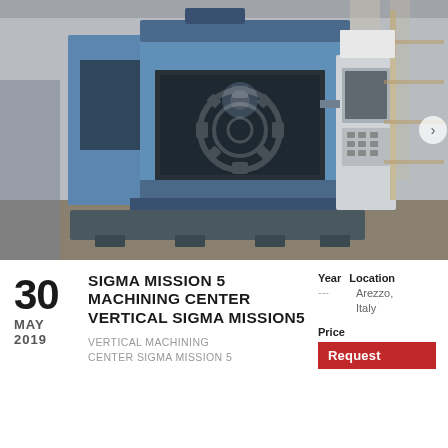[Figure (photo): CNC vertical machining center Sigma Mission 5 in an industrial warehouse setting. The machine is predominantly blue and grey with a control panel on the right side.]
30
MAY
2019
SIGMA MISSION 5 MACHINING CENTER VERTICAL SIGMA MISSION5
VERTICAL MACHINING CENTER SIGMA MISSION 5
Year
---
Location
Arezzo, Italy
Price
Request